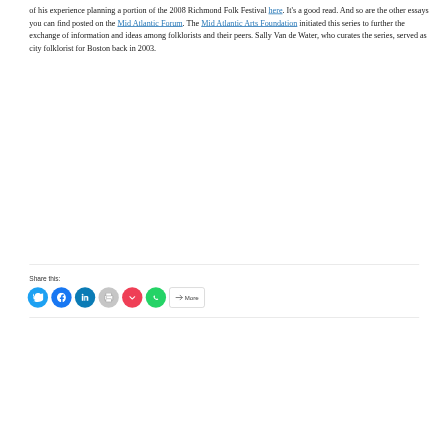of his experience planning a portion of the 2008 Richmond Folk Festival here. It's a good read. And so are the other essays you can find posted on the Mid Atlantic Forum. The Mid Atlantic Arts Foundation initiated this series to further the exchange of information and ideas among folklorists and their peers. Sally Van de Water, who curates the series, served as city folklorist for Boston back in 2003.
Share this:
[Figure (infographic): Social share buttons: Twitter (blue circle), Facebook (blue circle), LinkedIn (dark teal circle), Print (light gray circle), Pocket (red circle), WhatsApp (green circle), More (rounded rectangle button)]